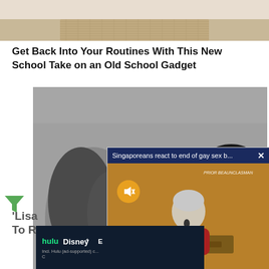[Figure (photo): Top strip of a lifestyle/home decor image showing a wooden surface and woven mat, cropped]
Get Back Into Your Routines With This New School Take on an Old School Gadget
[Figure (photo): Black and white photo of three people: a woman on the left with long wavy hair, a smiling young woman in the center, and a young man with curly hair on the right]
[Figure (screenshot): Video overlay popup with dark blue title bar showing 'Singaporeans react to end of gay sex b...' with a close X button. Video shows a man in red at a podium against a golden-brown background, with a muted speaker icon overlay and presenter label text]
[Figure (other): Green filter/funnel icon at bottom left]
Lisa ... To R...
[Figure (advertisement): Streaming service advertisement showing Hulu, Disney+, and ESPN logos on dark background with text 'Incl. Hulu (ad-supported) c...']